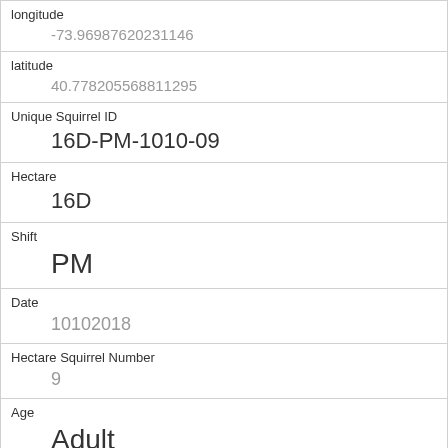| Field | Value |
| --- | --- |
| longitude | -73.96987620231146 |
| latitude | 40.778205568811295 |
| Unique Squirrel ID | 16D-PM-1010-09 |
| Hectare | 16D |
| Shift | PM |
| Date | 10102018 |
| Hectare Squirrel Number | 9 |
| Age | Adult |
| Primary Fur Color | Gray |
| Highlight Fur Color |  |
| Combination of Primary and Highlight Color |  |